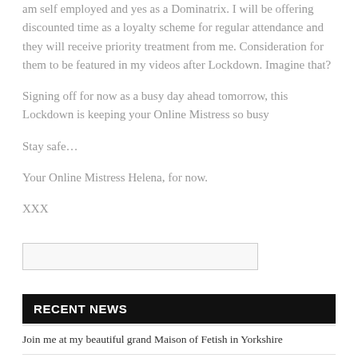am self employed and yes as a Dominatrix. I will be offering discounted time as a loyalty scheme for regular attendance and they will receive priority treatment from me. Consideration for them to be featured in my videos after Lockdown. Imagine that?
Signing off for now as a busy day ahead tomorrow, this Lockdown is keeping your Online Mistress so busy
Stay safe…
Your Online Mistress Helena, for now.
XXX
[Figure (other): Search input box, empty, with light grey border]
RECENT NEWS
Join me at my beautiful grand Maison of Fetish in Yorkshire
Online Mistress Helena available online during lockdown